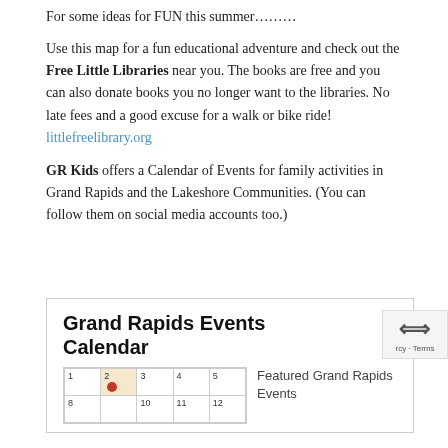For some ideas for FUN this summer………
Use this map for a fun educational adventure and check out the Free Little Libraries near you. The books are free and you can also donate books you no longer want to the libraries. No late fees and a good excuse for a walk or bike ride! littlefreelibrary.org
GR Kids offers a Calendar of Events for family activities in Grand Rapids and the Lakeshore Communities. (You can follow them on social media accounts too.)
[Figure (screenshot): Grand Rapids Events Calendar widget showing a calendar grid with dates 1-12 visible, a red map pin on date 2, shaded cells, and a 'Featured Grand Rapids Events' text to the right.]